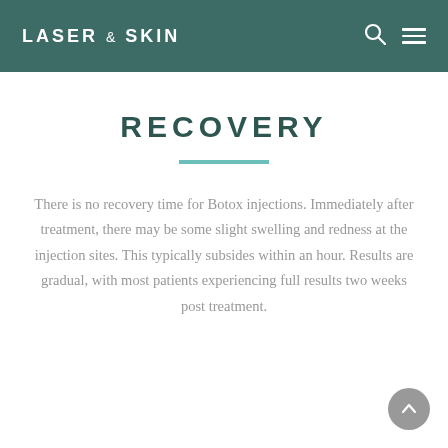LASER & SKIN
RECOVERY
There is no recovery time for Botox injections. Immediately after treatment, there may be some slight swelling and redness at the injection sites. This typically subsides within an hour. Results are gradual, with most patients experiencing full results two weeks post treatment.